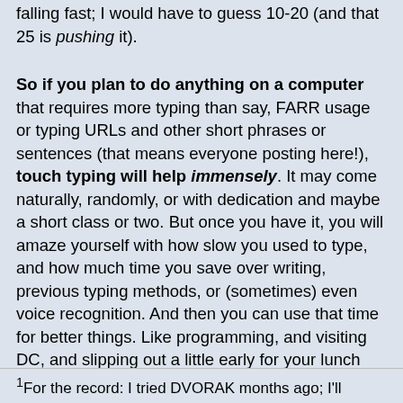falling fast; I would have to guess 10-20 (and that 25 is pushing it).
So if you plan to do anything on a computer that requires more typing than say, FARR usage or typing URLs and other short phrases or sentences (that means everyone posting here!), touch typing will help immensely. It may come naturally, randomly, or with dedication and maybe a short class or two. But once you have it, you will amaze yourself with how slow you used to type, and how much time you save over writing, previous typing methods, or (sometimes) even voice recognition. And then you can use that time for better things. Like programming, and visiting DC, and slipping out a little early for your lunch hour... wait, what? 😄
¹For the record: I tried DVORAK months ago; I'll